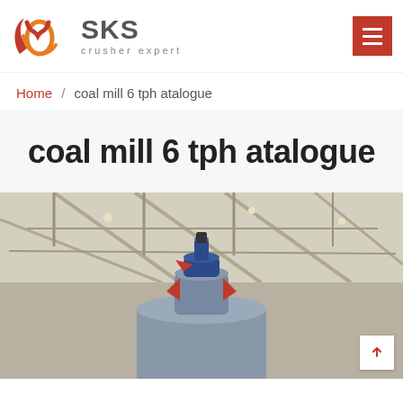SKS crusher expert
Home / coal mill 6 tph atalogue
coal mill 6 tph atalogue
[Figure (photo): Industrial coal mill or crusher equipment photographed from below inside a factory/warehouse, showing a cylindrical grey mill body with red and blue accents at the top, steel roof trusses visible in background]